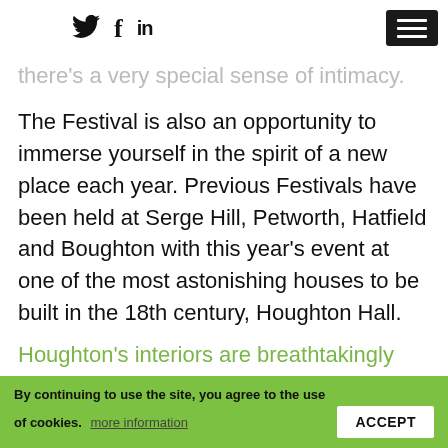Twitter Facebook LinkedIn [hamburger menu]
there's a very special sense of intimacy.
The Festival is also an opportunity to immerse yourself in the spirit of a new place each year. Previous Festivals have been held at Serge Hill, Petworth, Hatfield and Boughton with this year's event at one of the most astonishing houses to be built in the 18th century, Houghton Hall.
Houghton's interiors are breathtakingly intact and it's landscaping – beginning with
By continuing to use the site, you agree to the use of cookies. more information  ACCEPT